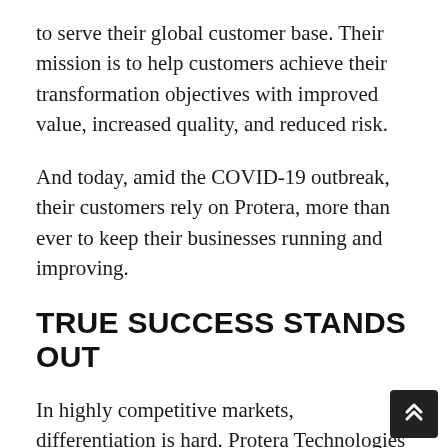to serve their global customer base. Their mission is to help customers achieve their transformation objectives with improved value, increased quality, and reduced risk.
And today, amid the COVID-19 outbreak, their customers rely on Protera, more than ever to keep their businesses running and improving.
TRUE SUCCESS STANDS OUT
In highly competitive markets, differentiation is hard. Protera Technologies continues to stand apart during the outbreak with their unique strategy and business model. With their focus on SAP cloud transformations, strong customer relationships, and subscription business model, combined with their technical team's unmatched skill set, they have proven that they know exactly which actions to take